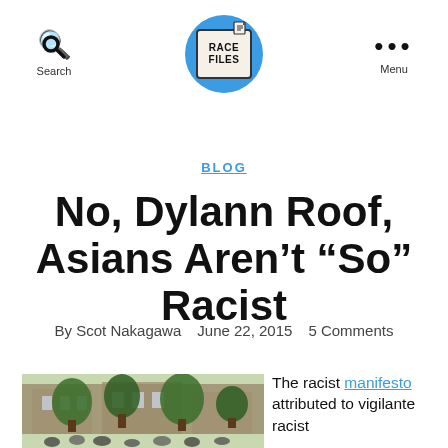Search | RACE FILES | Menu
BLOG
No, Dylann Roof, Asians Aren't “So” Racist
By Scot Nakagawa   June 22, 2015   5 Comments
[Figure (photo): Outdoor crowd scene with people gathered in front of a building with trees]
The racist manifesto attributed to vigilante racist